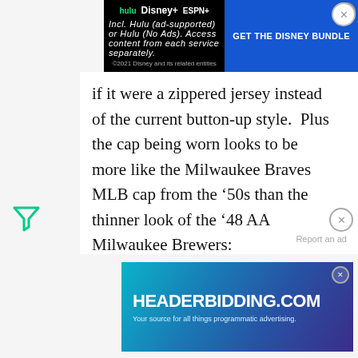GET THE DISNEY BUNDLE — hulu Disney+ ESPN+ — Incl. Hulu (ad-supported) or Hulu (No Ads). Access content from each service separately. ©2021 Disney and its related companies.
if it were a zippered jersey instead of the current button-up style.  Plus the cap being worn looks to be more like the Milwaukee Braves MLB cap from the '50s than the thinner look of the '48 AA Milwaukee Brewers:
HEADERBIDDING.COM — Your source for all things programmatic advertising.